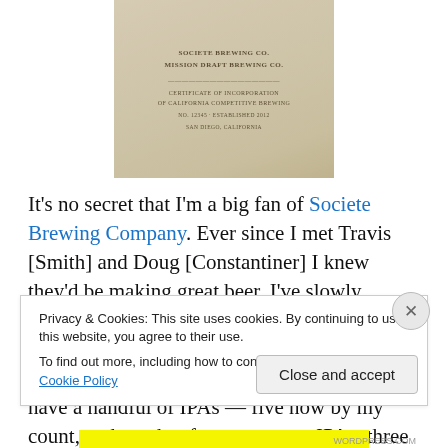[Figure (photo): A close-up photo of what appears to be a vintage or aged document/beer label from Societe Brewing Co., with text lines partially visible on a cream/beige background.]
It’s no secret that I’m a big fan of Societe Brewing Company. Ever since I met Travis [Smith] and Doug [Constantiner] I knew they’d be making great beer. I’ve slowly sampled my way through all of their available beers (well, except for the new Every Man’s IPA they released this week that is). They have a handful of IPAs — five now by my count, and another four more non-IPAs, three of
Privacy & Cookies: This site uses cookies. By continuing to use this website, you agree to their use.
To find out more, including how to control cookies, see here: Cookie Policy
Close and accept